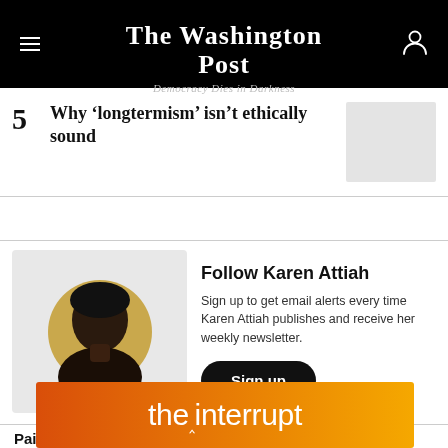The Washington Post — Democracy Dies in Darkness
5 Why 'longtermism' isn't ethically sound
Follow Karen Attiah — Sign up to get email alerts every time Karen Attiah publishes and receive her weekly newsletter. Sign up
Paid Promoted Stories
[Figure (logo): the interrupt advertisement banner with orange-to-yellow gradient background]